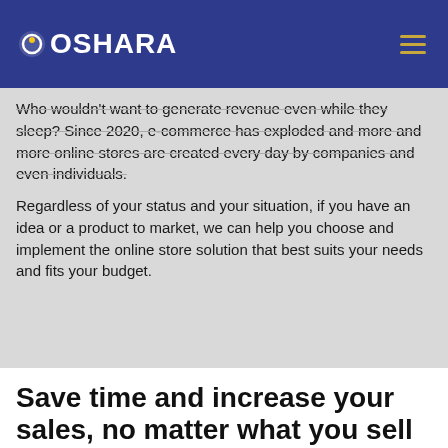OSHARA
Who wouldn't want to generate revenue even while they sleep? Since 2020, e-commerce has exploded and more and more online stores are created every day by companies and even individuals.
Regardless of your status and your situation, if you have an idea or a product to market, we can help you choose and implement the online store solution that best suits your needs and fits your budget.
Save time and increase your sales, no matter what you sell